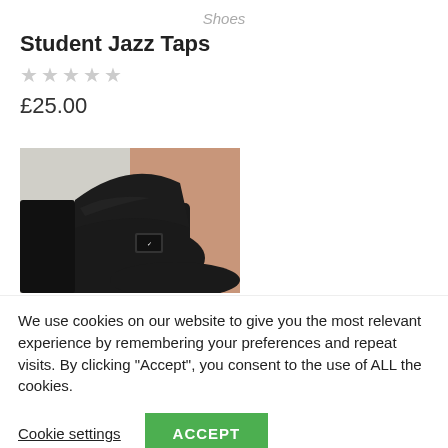Shoes
Student Jazz Taps
★★★★★ (empty stars)
£25.00
[Figure (photo): Close-up photo of a black jazz tap shoe on a person's foot, showing the heel and side of the shoe against a grey background.]
We use cookies on our website to give you the most relevant experience by remembering your preferences and repeat visits. By clicking "Accept", you consent to the use of ALL the cookies.
Cookie settings
ACCEPT